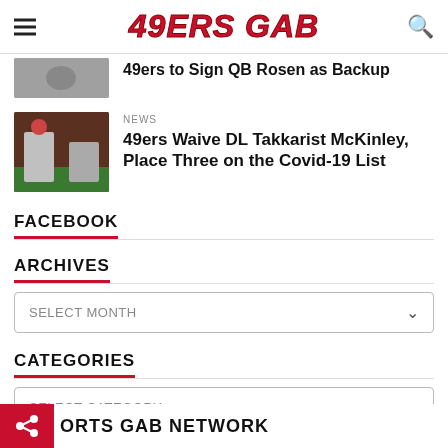49ERS GAB
49ers to Sign QB Rosen as Backup
NEWS
49ers Waive DL Takkarist McKinley, Place Three on the Covid-19 List
FACEBOOK
ARCHIVES
SELECT MONTH
CATEGORIES
SELECT CATEGORY
ORTS GAB NETWORK